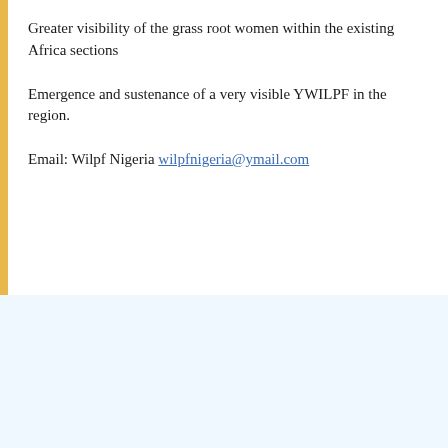Greater visibility of the grass root women within the existing Africa sections
Emergence and sustenance of a very visible YWILPF in the region.
Email: Wilpf Nigeria wilpfnigeria@ymail.com
Seminar on Integrating Gender Perspectives into the Third Pillar of the Responsibility to Protect
On February 21, a group of 35 scholars and activists gathered at the UN for a GARW-sponsored event on Integrating